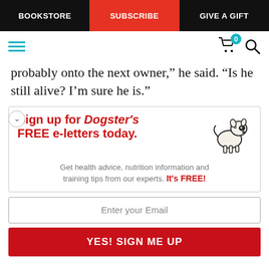BOOKSTORE | SUBSCRIBE | GIVE A GIFT
probably onto the next owner,” he said. “Is he still alive? I’m sure he is.”
[Figure (infographic): Sign up for Dogster's FREE e-letters today. Get health advice, nutrition information and training tips from our experts. It's FREE! Email input field and YES! SIGN ME UP button. Illustration of a cartoon dog on the right side.]